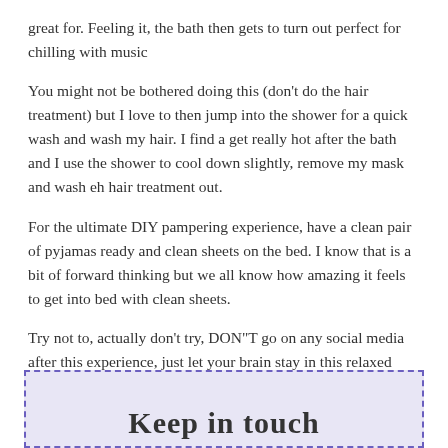great for. Feeling it, the bath then gets to turn out perfect for chilling with music
You might not be bothered doing this (don't do the hair treatment) but I love to then jump into the shower for a quick wash and wash my hair. I find a get really hot after the bath and I use the shower to cool down slightly, remove my mask and wash eh hair treatment out.
For the ultimate DIY pampering experience, have a clean pair of pyjamas ready and clean sheets on the bed. I know that is a bit of forward thinking but we all know how amazing it feels to get into bed with clean sheets.
Try not to, actually don't try, DON"T go on any social media after this experience, just let your brain stay in this relaxed place for as long as possible and have an early night.
Keep in touch